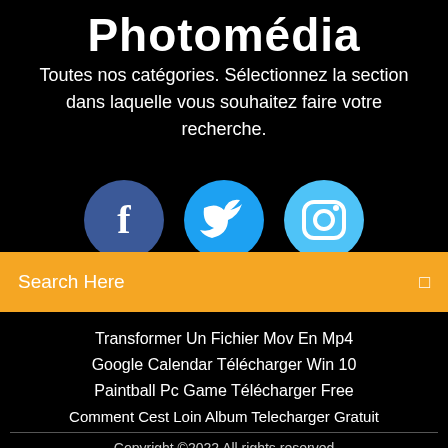Photomédia
Toutes nos catégories. Sélectionnez la section dans laquelle vous souhaitez faire votre recherche.
[Figure (illustration): Three social media icon circles: Facebook (dark blue), Twitter (medium blue), Instagram (light blue), partially cut off at bottom of section]
Search Here
Transformer Un Fichier Mov En Mp4
Google Calendar Télécharger Win 10
Paintball Pc Game Télécharger Free
Comment Cest Loin Album Telecharger Gratuit
Copyright ©2022 All rights reserved